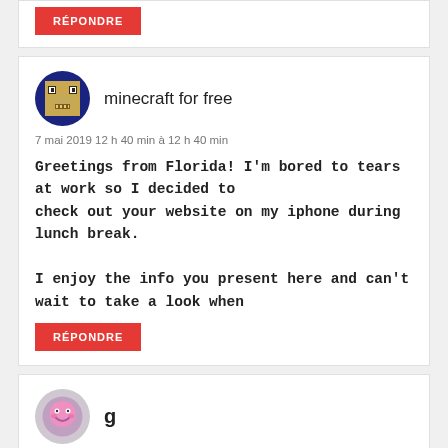RÉPONDRE
[Figure (illustration): Minecraft-style avatar icon in dark blue circle]
minecraft for free
7 mai 2019 12 h 40 min à 12 h 40 min
Greetings from Florida! I'm bored to tears at work so I decided to check out your website on my iphone during lunch break.

I enjoy the info you present here and can't wait to take a look when
RÉPONDRE
[Figure (illustration): Pink smiley face avatar in gray circle]
g
11 mai 2019 10 h 15 min à 10 h 15 min
I've been exploring for a little for any high quality arti weblog posts on this sort of space . Exploring in Yahoo I ultimately